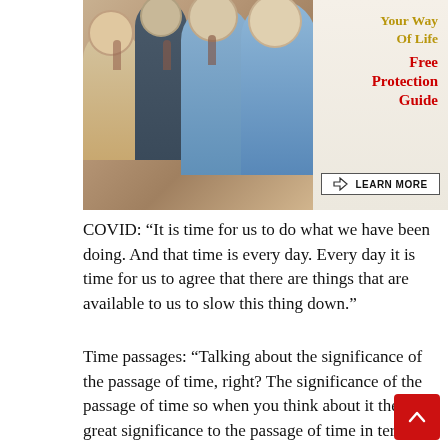[Figure (illustration): Advertisement banner showing elderly people toasting with wine glasses on the left photo side, and text on the right reading 'Your Way Of Life' in gold and 'Free Protection Guide' in red, with a 'LEARN MORE' button]
COVID: “It is time for us to do what we have been doing. And that time is every day. Every day it is time for us to agree that there are things that are available to us to slow this thing down.”
Time passages: “Talking about the significance of the passage of time, right? The significance of the passage of time so when you think about it there is great significance to the passage of time in terms of what we need to do to lay these wires what we need to do to create these jobs and there is such great significance to the passage of time when we think about a day in the